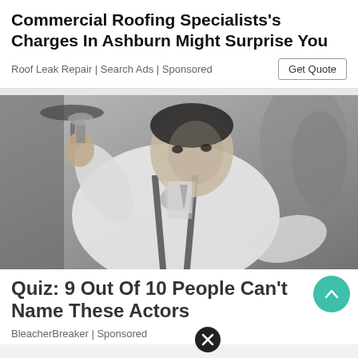Commercial Roofing Specialists's Charges In Ashburn Might Surprise You
Roof Leak Repair | Search Ads | Sponsored
[Figure (photo): Black and white photo of a man in a white shirt with suspenders, leaning back casually and looking at the camera]
Quiz: 9 Out Of 10 People Can't Name These Actors
BleacherBreaker | Sponsored